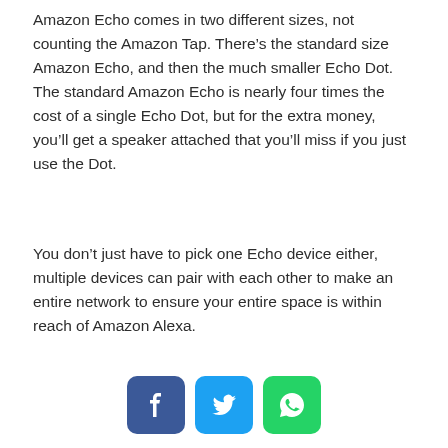Amazon Echo comes in two different sizes, not counting the Amazon Tap. There’s the standard size Amazon Echo, and then the much smaller Echo Dot. The standard Amazon Echo is nearly four times the cost of a single Echo Dot, but for the extra money, you’ll get a speaker attached that you’ll miss if you just use the Dot.
You don’t just have to pick one Echo device either, multiple devices can pair with each other to make an entire network to ensure your entire space is within reach of Amazon Alexa.
[Figure (other): Three social media share buttons: Facebook (blue), Twitter (light blue), WhatsApp (green)]